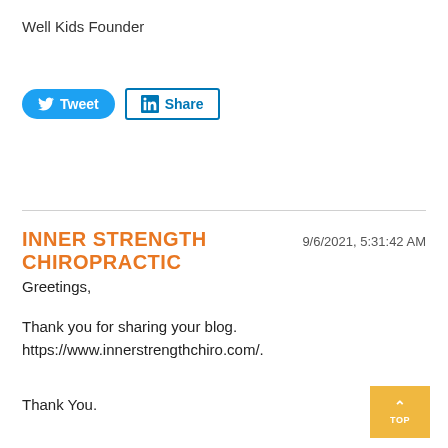Well Kids Founder
[Figure (other): Twitter Tweet button (blue rounded) and LinkedIn Share button (blue outlined rectangle)]
INNER STRENGTH CHIROPRACTIC 9/6/2021, 5:31:42 AM
Greetings,
Thank you for sharing your blog. https://www.innerstrengthchiro.com/.
Thank You.